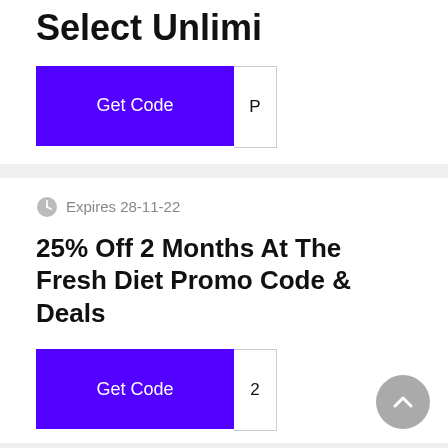Select Unlimi
Get Code  OP
Expires 28-11-22
25% Off 2 Months At The Fresh Diet Promo Code & Deals
Get Code  2
Expires 29-10-22